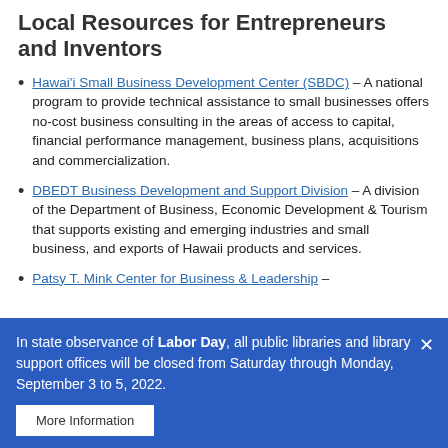Local Resources for Entrepreneurs and Inventors
Hawai'i Small Business Development Center (SBDC) – A national program to provide technical assistance to small businesses offers no-cost business consulting in the areas of access to capital, financial performance management, business plans, acquisitions and commercialization.
DBEDT Business Development and Support Division – A division of the Department of Business, Economic Development & Tourism that supports existing and emerging industries and small business, and exports of Hawaii products and services.
Patsy T. Mink Center for Business & Leadership –
In state observance of Labor Day, all public libraries and library support offices will be closed from Saturday through Monday, September 3 to 5, 2022.
More Information